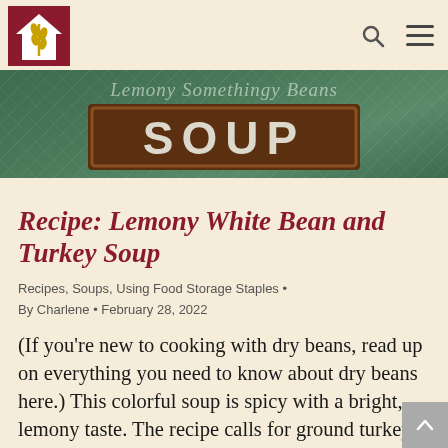[Figure (logo): House with wheat logo in dark red square]
[Figure (illustration): Banner image with green fabric texture background and 'Lemony Somethingy Beans' script text above a brown box containing the word SOUP in large white letters]
Recipe: Lemony White Bean and Turkey Soup
Recipes, Soups, Using Food Storage Staples • By Charlene • February 28, 2022
(If you're new to cooking with dry beans, read up on everything you need to know about dry beans here.) This colorful soup is spicy with a bright, lemony taste. The recipe calls for ground turkey, but you can use leftover turkey if you like. Serve